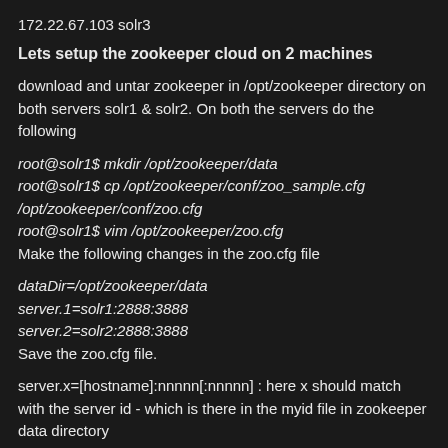172.22.67.103 solr3
Lets setup the zookeeper cloud on 2 machines
download and untar zookeeper in /opt/zookeeper directory on both servers solr1 & solr2. On both the servers do the following
root@solr1$ mkdir /opt/zookeeper/data
root@solr1$ cp /opt/zookeeper/conf/zoo_sample.cfg /opt/zookeeper/conf/zoo.cfg
root@solr1$ vim /opt/zookeeper/zoo.cfg
Make the following changes in the zoo.cfg file
dataDir=/opt/zookeeper/data
server.1=solr1:2888:3888
server.2=solr2:2888:3888
Save the zoo.cfg file.
server.x=[hostname]:nnnnn[:nnnnn] : here x should match with the server id - which is there in the myid file in zookeeper data directory